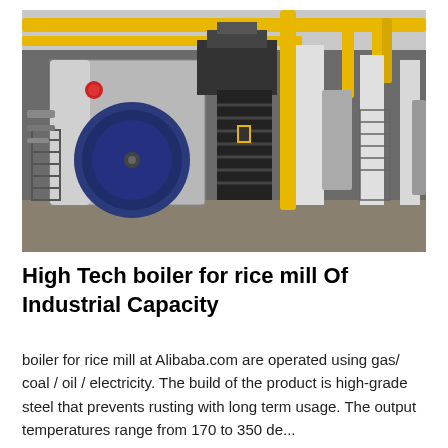[Figure (photo): Industrial boiler room with large cylindrical boiler on the left with a blue drum component, metal staircases, yellow overhead pipes running along the ceiling, white structural columns, and grey concrete floor. Multiple boiler units visible in the background.]
High Tech boiler for rice mill Of Industrial Capacity
boiler for rice mill at Alibaba.com are operated using gas/ coal / oil / electricity. The build of the product is high-grade steel that prevents rusting with long term usage. The output temperatures range from 170 to 350 de...